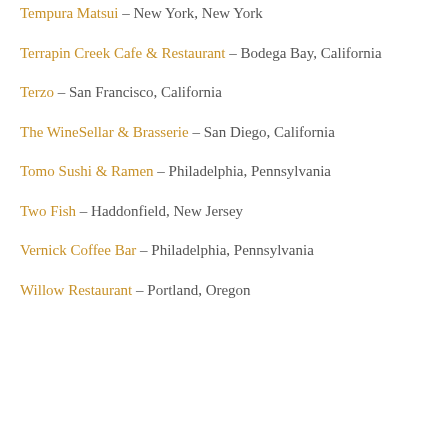Tempura Matsui – New York, New York
Terrapin Creek Cafe & Restaurant – Bodega Bay, California
Terzo – San Francisco, California
The WineSellar & Brasserie – San Diego, California
Tomo Sushi & Ramen – Philadelphia, Pennsylvania
Two Fish – Haddonfield, New Jersey
Vernick Coffee Bar – Philadelphia, Pennsylvania
Willow Restaurant – Portland, Oregon